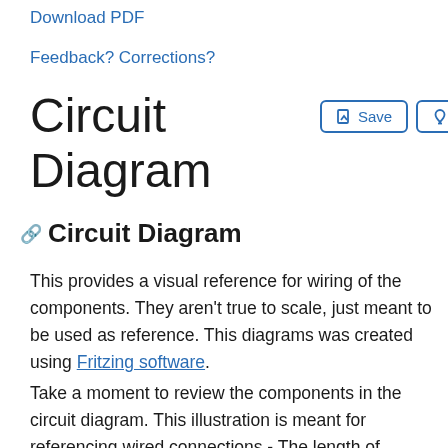Download PDF
Feedback? Corrections?
Circuit Diagram
Circuit Diagram
This provides a visual reference for wiring of the components. They aren't true to scale, just meant to be used as reference. This diagrams was created using Fritzing software.
Take a moment to review the components in the circuit diagram. This illustration is meant for referencing wired connections - The length of